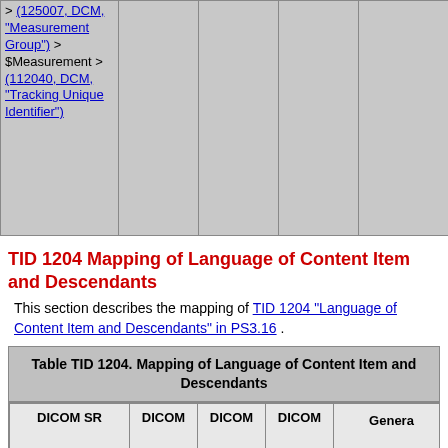| DICOM SR | DICOM | DICOM | DICOM | Genera... |
| --- | --- | --- | --- | --- |
| > (125007, DCM, "Measurement Group") > $Measurement > (112040, DCM, "Tracking Unique Identifier") |  |  |  |  |
TID 1204 Mapping of Language of Content Item and Descendants
This section describes the mapping of TID 1204 "Language of Content Item and Descendants" in PS3.16 .
Table TID 1204. Mapping of Language of Content Item and Descendants
| DICOM SR | DICOM | DICOM | DICOM | Genera... |
| --- | --- | --- | --- | --- |